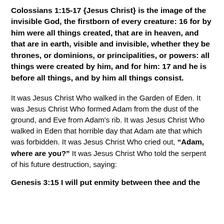Colossians 1:15-17 {Jesus Christ} is the image of the invisible God, the firstborn of every creature: 16 for by him were all things created, that are in heaven, and that are in earth, visible and invisible, whether they be thrones, or dominions, or principalities, or powers: all things were created by him, and for him: 17 and he is before all things, and by him all things consist.
It was Jesus Christ Who walked in the Garden of Eden. It was Jesus Christ Who formed Adam from the dust of the ground, and Eve from Adam's rib. It was Jesus Christ Who walked in Eden that horrible day that Adam ate that which was forbidden. It was Jesus Christ Who cried out, “Adam, where are you?” It was Jesus Christ Who told the serpent of his future destruction, saying:
Genesis 3:15 I will put enmity between thee and the